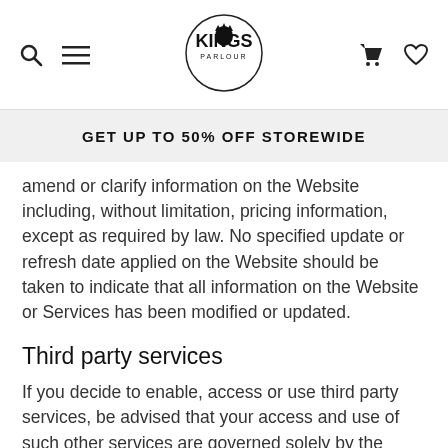Kings Parlour — site navigation header with search, menu, logo, cart, and wishlist icons
GET UP TO 50% OFF STOREWIDE
amend or clarify information on the Website including, without limitation, pricing information, except as required by law. No specified update or refresh date applied on the Website should be taken to indicate that all information on the Website or Services has been modified or updated.
Third party services
If you decide to enable, access or use third party services, be advised that your access and use of such other services are governed solely by the terms and conditions of such other services, and we do not endorse, are not responsible or liable for, and make